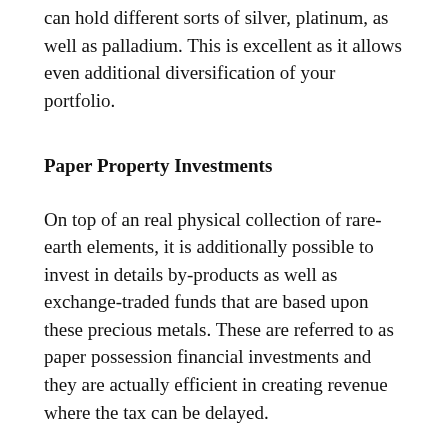can hold different sorts of silver, platinum, as well as palladium. This is excellent as it allows even additional diversification of your portfolio.
Paper Property Investments
On top of an real physical collection of rare-earth elements, it is additionally possible to invest in details by-products as well as exchange-traded funds that are based upon these precious metals. These are referred to as paper possession financial investments and they are actually efficient in creating revenue where the tax can be delayed.
Expand Your Profile
You have probably listened to the advice to diversify your profile sufficient to make you wish to draw your hair out. There is a reason that so many people yell this